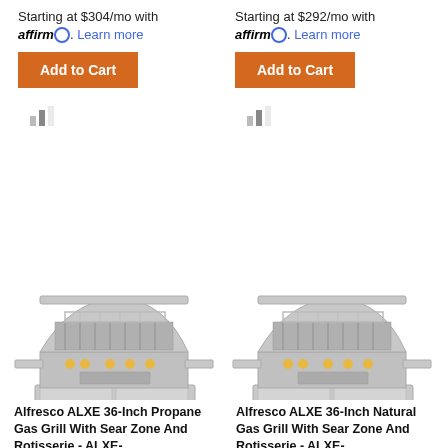Starting at $304/mo with affirm. Learn more
Add to Cart
Starting at $292/mo with affirm. Learn more
Add to Cart
[Figure (photo): Alfresco ALXE 36-Inch Propane Gas Grill on cart with side shelves, stainless steel, open lid showing grates]
[Figure (photo): Alfresco ALXE 36-Inch Natural Gas Grill on cart with side shelves, stainless steel, open lid showing grates]
Alfresco ALXE 36-Inch Propane Gas Grill With Sear Zone And Rotisserie - ALXE-
Alfresco ALXE 36-Inch Natural Gas Grill With Sear Zone And Rotisserie - ALXE-